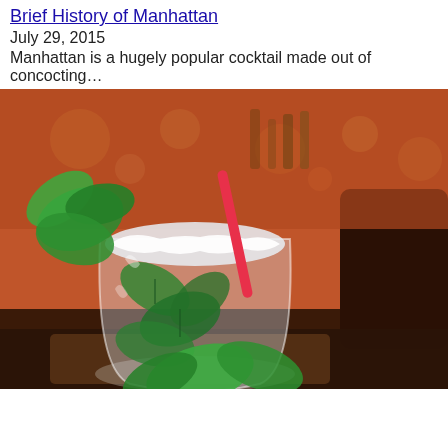Brief History of Manhattan
July 29, 2015
Manhattan is a hugely popular cocktail made out of concocting…
[Figure (photo): A mojito cocktail glass with crushed ice, fresh mint leaves, and a red straw, set on a bar counter with a blurred bar background featuring red and orange lighting.]